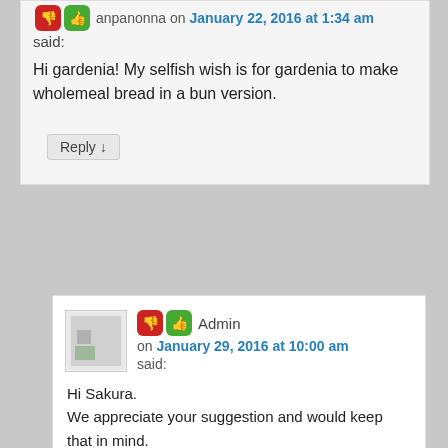anpanonna on January 22, 2016 at 1:34 am
said:
Hi gardenia! My selfish wish is for gardenia to make wholemeal bread in a bun version.
Reply ↓
Admin on January 29, 2016 at 10:00 am said:
Hi Sakura.
We appreciate your suggestion and would keep that in mind.
In the meantime, do enjoy our range of Gardenia wholemeal and wholegrain breads.
Thank you.
Reply ↓